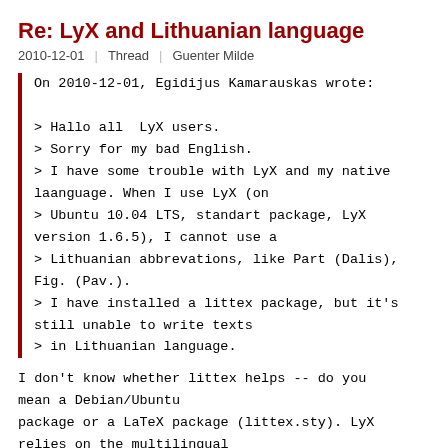Re: LyX and Lithuanian language
2010-12-01  |  Thread  |  Guenter Milde
On 2010-12-01, Egidijus Kamarauskas wrote:

> Hallo all  LyX users.
> Sorry for my bad English.
> I have some trouble with LyX and my native laanguage. When I use LyX (on
> Ubuntu 10.04 LTS, standart package, LyX version 1.6.5), I cannot use a
> Lithuanian abbrevations, like Part (Dalis), Fig. (Pav.).
> I have installed a littex package, but it's still unable to write texts
> in Lithuanian language.
I don't know whether littex helps -- do you mean a Debian/Ubuntu
package or a LaTeX package (littex.sty). LyX relies on the multilingual
"babel" package. You need to have a file
"lithuanian.ldf". In Debian,